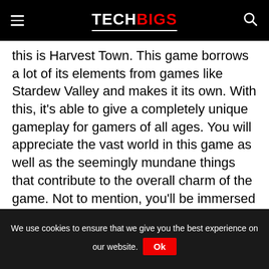TECHBIGS
this is Harvest Town. This game borrows a lot of its elements from games like Stardew Valley and makes it its own. With this, it's able to give a completely unique gameplay for gamers of all ages. You will appreciate the vast world in this game as well as the seemingly mundane things that contribute to the overall charm of the game. Not to mention, you'll be immersed in an abundant story with tons of impressive characters to boot.
Retro graphics – As expected, this game features retro graphics that's reminiscent of ones such as Pokémon and
We use cookies to ensure that we give you the best experience on our website. Ok